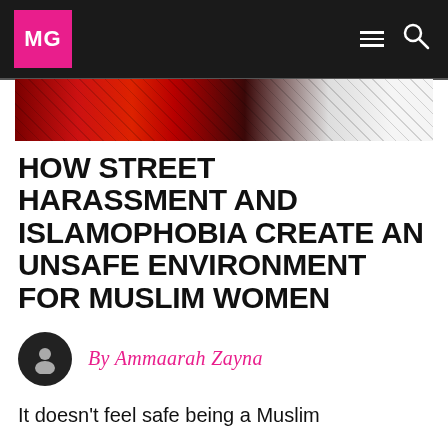MG
[Figure (photo): Partial hero image showing abstract red and grey graphic art, possibly a stylized face or figure]
HOW STREET HARASSMENT AND ISLAMOPHOBIA CREATE AN UNSAFE ENVIRONMENT FOR MUSLIM WOMEN
By Ammaarah Zayna
It doesn't feel safe being a Muslim